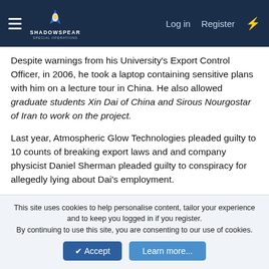SHADOWSPEAR Special Operations — Log in  Register
Despite warnings from his University's Export Control Officer, in 2006, he took a laptop containing sensitive plans with him on a lecture tour in China. He also allowed graduate students Xin Dai of China and Sirous Nourgostar of Iran to work on the project.
Last year, Atmospheric Glow Technologies pleaded guilty to 10 counts of breaking export laws and and company physicist Daniel Sherman pleaded guilty to conspiracy for allegedly lying about Dai's employment.
During his trial, Roth testified that he was unaware that hiring the graduate students was a violation of his contract, otherwise he would not have participated since his plasma research also has non-military applications. "This whole thing has not helped
This site uses cookies to help personalise content, tailor your experience and to keep you logged in if you register.
By continuing to use this site, you are consenting to our use of cookies.